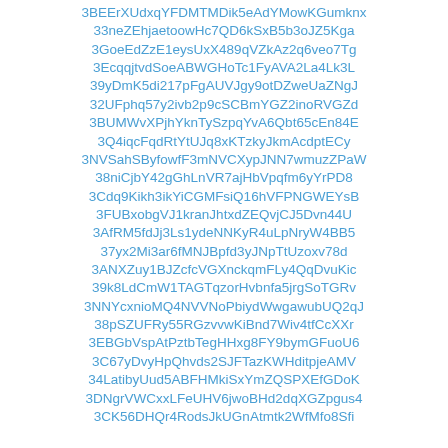3BEErXUdxqYFDMTMDik5eAdYMowKGumknx
33neZEhjaetoowHc7QD6kSxB5b3oJZ5Kga
3GoeEdZzE1eysUxX489qVZkAz2q6veo7Tg
3EcqqjtvdSoeABWGHoTc1FyAVA2La4Lk3L
39yDmK5di217pFgAUVJgy9otDZweUaZNgJ
32UFphq57y2ivb2p9cSCBmYGZ2inoRVGZd
3BUMWvXPjhYknTySzpqYvA6Qbt65cEn84E
3Q4iqcFqdRtYtUJq8xKTzkyJkmAcdptECy
3NVSahSByfowfF3mNVCXypJNN7wmuzZPaW
38niCjbY42gGhLnVR7ajHbVpqfm6yYrPD8
3Cdq9Kikh3ikYiCGMFsiQ16hVFPNGWEYsB
3FUBxobgVJ1kranJhtxdZEQvjCJ5Dvn44U
3AfRM5fdJj3Ls1ydeNNKyR4uLpNryW4BB5
37yx2Mi3ar6fMNJBpfd3yJNpTtUzoxv78d
3ANXZuy1BJZcfcVGXnckqmFLy4QqDvuKic
39k8LdCmW1TAGTqzorHvbnfa5jrgSoTGRv
3NNYcxnioMQ4NVVNoPbiydWwgawubUQ2qJ
38pSZUFRy55RGzvvwKiBnd7Wiv4tfCcXXr
3EBGbVspAtPztbTegHHxg8FY9bymGFuoU6
3C67yDvyHpQhvds2SJFTazKWHditpjeAMV
34LatibyUud5ABFHMkiSxYmZQSPXEfGDoK
3DNgrVWCxxLFeUHV6jwoBHd2dqXGZpgus4
3CK56DHQr4Rods JkUGnAtmtk2WfMfo8Sfi